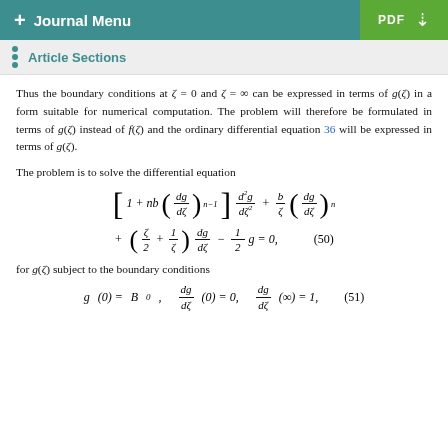+ Journal Menu | PDF
Article Sections
Thus the boundary conditions at ζ = 0 and ζ = ∞ can be expressed in terms of g(ζ) in a form suitable for numerical computation. The problem will therefore be formulated in terms of g(ζ) instead of f(ζ) and the ordinary differential equation 36 will be expressed in terms of g(ζ).
The problem is to solve the differential equation
for g(ζ) subject to the boundary conditions